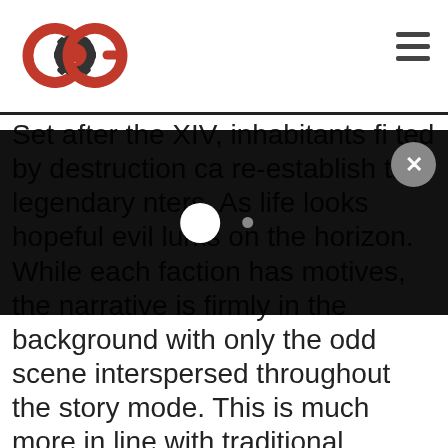[Figure (logo): COG logo — circular C and G with gear in center, red and dark grey]
[Figure (screenshot): Dark modal overlay with a large white circle, small grey dot, and an X close button in top-right corner, partially obscuring article text]
Set after the XIV, inhabitants fi ted by destruction ca re-establish the legendary nters. As life looks hopeful evil lurks on the horizon. While each faction has motives, the narrative is firmly in the background with only the odd scene interspersed throughout the story mode. This is much more in line with traditional fighters, offering enough incentive for you to complete it with all groups but not bogging you down with its over-the-top narrative.